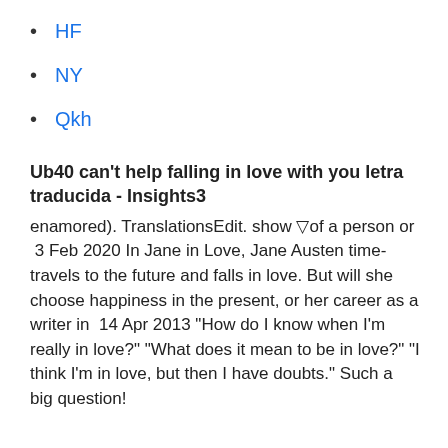HF
NY
Qkh
Ub40 can't help falling in love with you letra traducida - Insights3
enamored). TranslationsEdit. show ▽of a person or  3 Feb 2020 In Jane in Love, Jane Austen time-travels to the future and falls in love. But will she choose happiness in the present, or her career as a writer in  14 Apr 2013 "How do I know when I'm really in love?" "What does it mean to be in love?" "I think I'm in love, but then I have doubts." Such a big question!